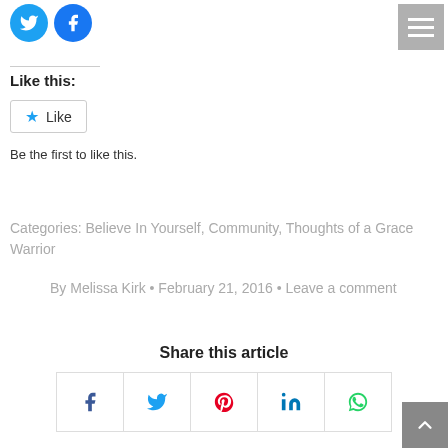[Figure (other): Twitter and Facebook share icon circles at top left]
[Figure (other): Hamburger menu button at top right]
Like this:
[Figure (other): Like button with star icon]
Be the first to like this.
Categories: Believe In Yourself, Community, Thoughts of a Grace Warrior
By Melissa Kirk • February 21, 2016 • Leave a comment
Share this article
[Figure (other): Share buttons row: Facebook, Twitter, Pinterest, LinkedIn, WhatsApp]
[Figure (other): Back to top button at bottom right]